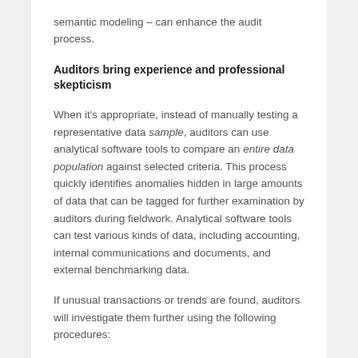semantic modeling – can enhance the audit process.
Auditors bring experience and professional skepticism
When it's appropriate, instead of manually testing a representative data sample, auditors can use analytical software tools to compare an entire data population against selected criteria. This process quickly identifies anomalies hidden in large amounts of data that can be tagged for further examination by auditors during fieldwork. Analytical software tools can test various kinds of data, including accounting, internal communications and documents, and external benchmarking data.
If unusual transactions or trends are found, auditors will investigate them further using the following procedures: